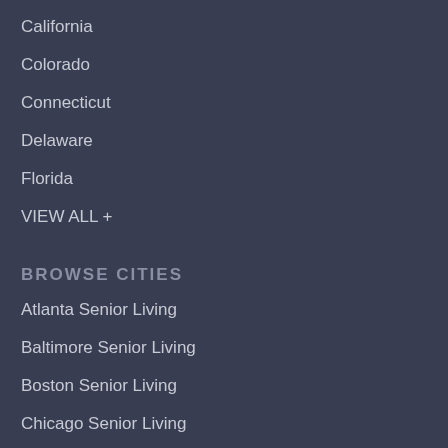California
Colorado
Connecticut
Delaware
Florida
VIEW ALL +
BROWSE CITIES
Atlanta Senior Living
Baltimore Senior Living
Boston Senior Living
Chicago Senior Living
Cleveland Senior Living
Dallas Senior Living